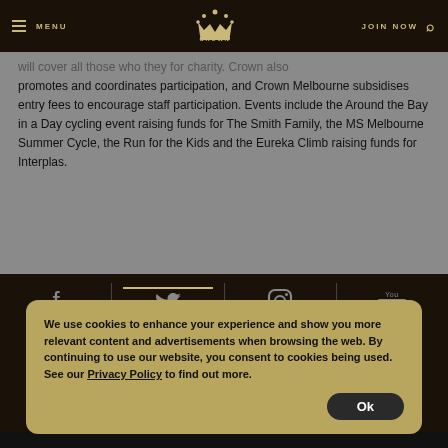MENU | CROWN | JOIN NOW
will cover all those who they for charity. Crown also promotes and coordinates participation, and Crown Melbourne subsidises entry fees to encourage staff participation. Events include the Around the Bay in a Day cycling event raising funds for The Smith Family, the MS Melbourne Summer Cycle, the Run for the Kids and the Eureka Climb raising funds for Interplas.
We use cookies to enhance your experience and show you more relevant content and advertisements when browsing the web. By continuing to use our website, you consent to cookies being used. See our Privacy Policy to find out more. Ok
PRIVACY    TERMS OF USE    © 2022 CROWN RESORTS LTD